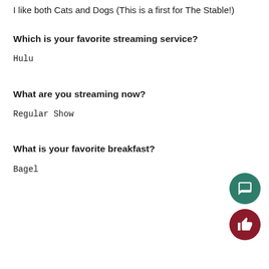I like both Cats and Dogs (This is a first for The Stable!)
Which is your favorite streaming service?
Hulu
What are you streaming now?
Regular Show
What is your favorite breakfast?
Bagel